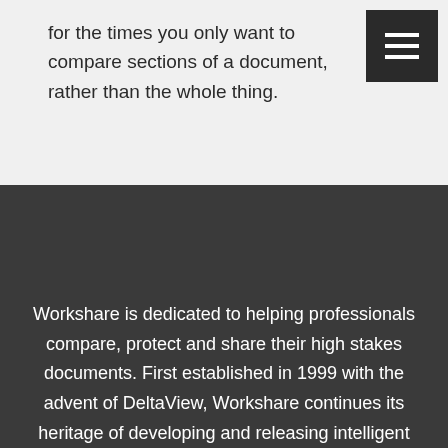for the times you only want to compare sections of a document, rather than the whole thing.
Workshare is dedicated to helping professionals compare, protect and share their high stakes documents. First established in 1999 with the advent of DeltaView, Workshare continues its heritage of developing and releasing intelligent technology